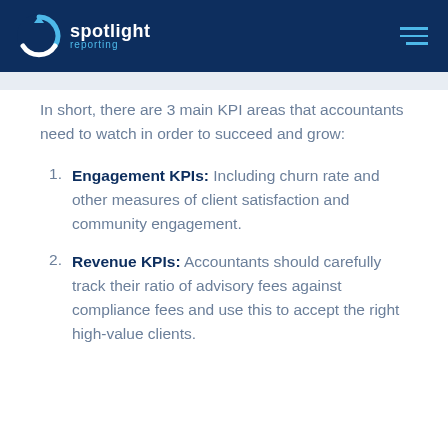spotlight reporting
In short, there are 3 main KPI areas that accountants need to watch in order to succeed and grow:
Engagement KPIs: Including churn rate and other measures of client satisfaction and community engagement.
Revenue KPIs: Accountants should carefully track their ratio of advisory fees against compliance fees and use this to accept the right high-value clients.